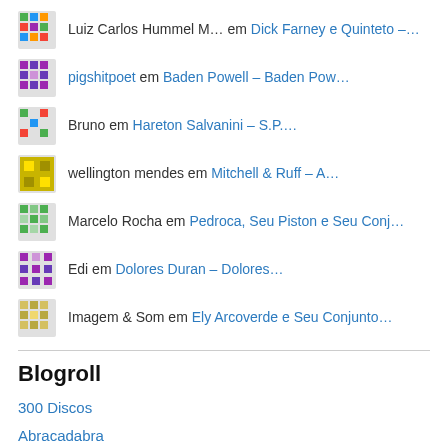Luiz Carlos Hummel M… em Dick Farney e Quinteto –…
pigshitpoet em Baden Powell – Baden Pow…
Bruno em Hareton Salvanini – S.P….
wellington mendes em Mitchell & Ruff – A…
Marcelo Rocha em Pedroca, Seu Piston e Seu Conj…
Edi em Dolores Duran – Dolores…
Imagem & Som em Ely Arcoverde e Seu Conjunto…
Blogroll
300 Discos
Abracadabra
Baú de Longplaying
Búzios Bossa Blog
Brazilliance
Discos Brasil
Estação Saudade
Eu Ovo